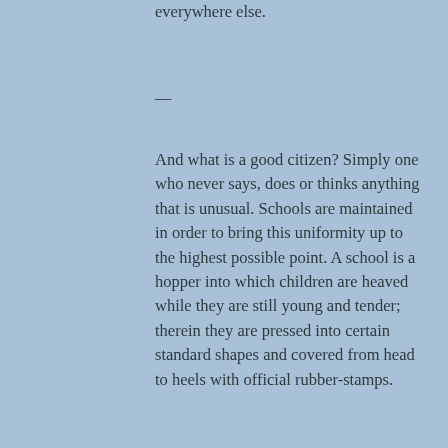everywhere else.
—
And what is a good citizen? Simply one who never says, does or thinks anything that is unusual. Schools are maintained in order to bring this uniformity up to the highest possible point. A school is a hopper into which children are heaved while they are still young and tender; therein they are pressed into certain standard shapes and covered from head to heels with official rubber-stamps.